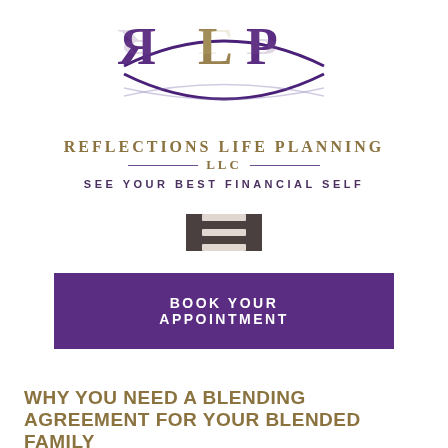[Figure (logo): Reflections Life Planning LLC logo — stylized RLP letters in purple and gold with mirrored reflection, crossed by a swoosh]
REFLECTIONS LIFE PLANNING LLC
SEE YOUR BEST FINANCIAL SELF
[Figure (other): Hamburger menu icon — dark grey square with three horizontal white lines]
BOOK YOUR APPOINTMENT
WHY YOU NEED A BLENDING AGREEMENT FOR YOUR BLENDED FAMILY